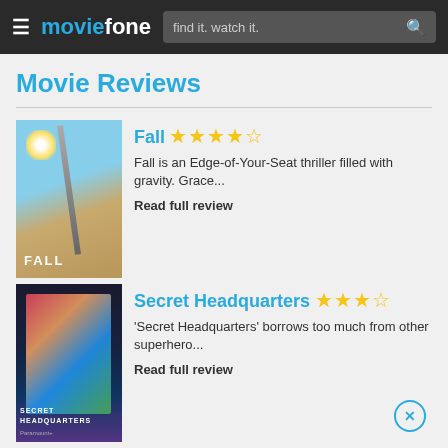moviefone — find it. watch it.
Movie Reviews
[Figure (photo): Fall movie poster - blue sky with tall tower/antenna, sun flare, orange desert ground, text FALL at bottom]
Fall
★★★★½
Fall is an Edge-of-Your-Seat thriller filled with gravity. Grace...
Read full review
[Figure (photo): Secret Headquarters movie poster - armored superhero figure with colorful action background, SECRET HEADQUARTERS title]
Secret Headquarters
★★★½
'Secret Headquarters' borrows too much from other superhero...
Read full review
[Figure (photo): Prey movie poster - close-up of face with green war paint markings and intense eyes]
Prey
★★★★★